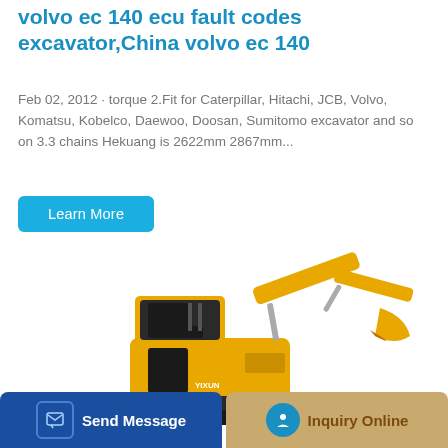volvo ec 140 ecu fault codes excavator,China volvo ec 140
Feb 02, 2012 · torque 2.Fit for Caterpillar, Hitachi, JCB, Volvo, Komatsu, Kobelco, Daewoo, Doosan, Sumitomo excavator and so on 3.3 chains Hekuang is 2622mm 2867mm...
Learn More
[Figure (photo): Yellow mini excavator with black tracks, open cab with seat, boom arm extended to the right with bucket attachment, side profile view on white background]
Send Message
Inquiry Online